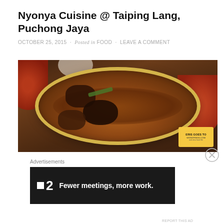Nyonya Cuisine @ Taiping Lang, Puchong Jaya
OCTOBER 25, 2015 · Posted in FOOD · LEAVE A COMMENT
[Figure (photo): A bowl of Nyonya cuisine dish, dark braised meat/chicken in a yellow-rimmed bowl, with red curry dishes visible on the sides, on a wooden table. Watermark reads 'ERIS GOES TO wordpress.com'.]
Advertisements
[Figure (screenshot): Advertisement banner: dark background with logo showing a small square and '2', tagline reads 'Fewer meetings, more work.']